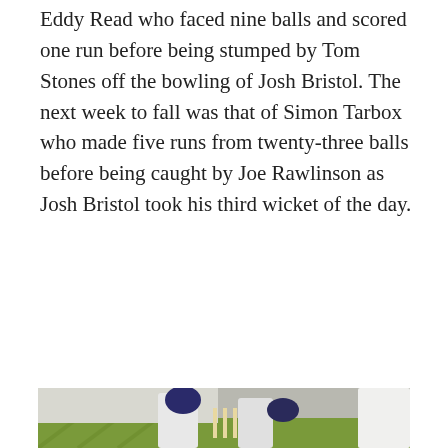Eddy Read who faced nine balls and scored one run before being stumped by Tom Stones off the bowling of Josh Bristol. The next week to fall was that of Simon Tarbox who made five runs from twenty-three balls before being caught by Joe Rawlinson as Josh Bristol took his third wicket of the day.
[Figure (photo): Cricket match photo showing a wicket-keeper in white cricket gear and navy blue helmet crouching behind the stumps labelled SETTLE, with a batsman in white and navy gear low to the ground, and a fielder on the right partially visible. Green grass pitch in background with a white wall.]